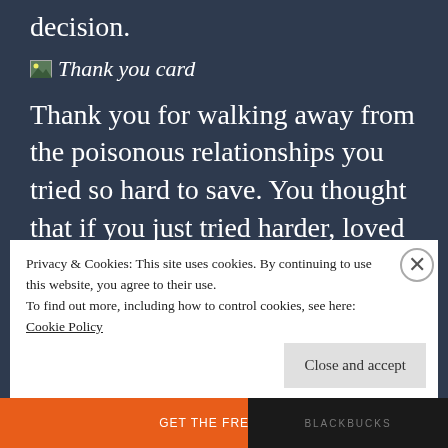decision.
[Figure (illustration): Small thumbnail image labeled 'Thank you card']
Thank you for walking away from the poisonous relationships you tried so hard to save. You thought that if you just tried harder, loved more deeply, that you could fix them. But they weren't the ones who needed fixing, and abusive
Privacy & Cookies: This site uses cookies. By continuing to use this website, you agree to their use.
To find out more, including how to control cookies, see here:
Cookie Policy
Close and accept